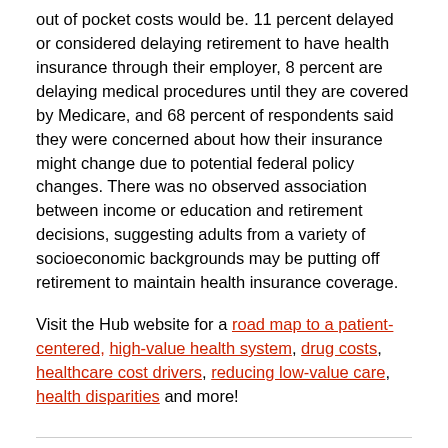out of pocket costs would be. 11 percent delayed or considered delaying retirement to have health insurance through their employer, 8 percent are delaying medical procedures until they are covered by Medicare, and 68 percent of respondents said they were concerned about how their insurance might change due to potential federal policy changes. There was no observed association between income or education and retirement decisions, suggesting adults from a variety of socioeconomic backgrounds may be putting off retirement to maintain health insurance coverage.
Visit the Hub website for a road map to a patient-centered, high-value health system, drug costs, healthcare cost drivers, reducing low-value care, health disparities and more!